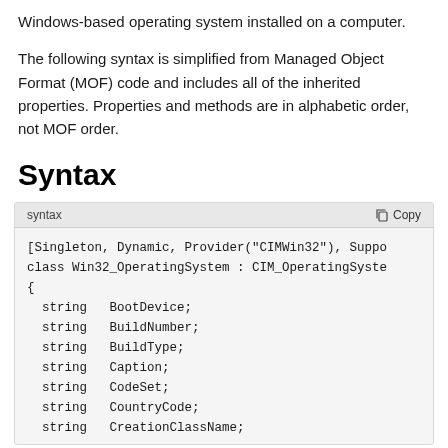Windows-based operating system installed on a computer.
The following syntax is simplified from Managed Object Format (MOF) code and includes all of the inherited properties. Properties and methods are in alphabetic order, not MOF order.
Syntax
[Figure (screenshot): Code block showing WMI MOF syntax for Win32_OperatingSystem class with properties: BootDevice, BuildNumber, BuildType, Caption, CodeSet, CountryCode, CreationClassName]